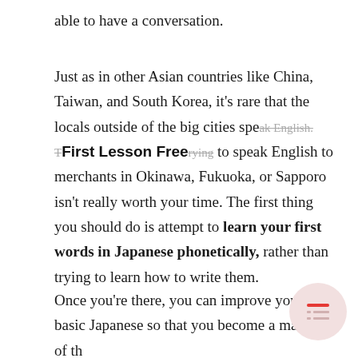able to have a conversation.
Just as in other Asian countries like China, Taiwan, and South Korea, it's rare that the locals outside of the big cities speak English. Trying to speak English to merchants in Okinawa, Fukuoka, or Sapporo isn't really worth your time. The first thing you should do is attempt to learn your first words in Japanese phonetically, rather than trying to learn how to write them.
Once you're there, you can improve your basic Japanese so that you become a master of the tongue.